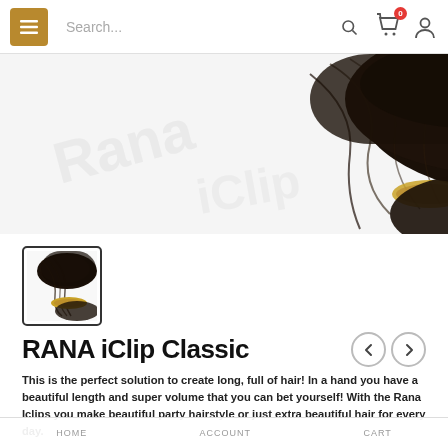[Figure (screenshot): Navigation bar with hamburger menu button (gold/brown), search bar, cart icon with badge showing 0, and user account icon]
[Figure (photo): Close-up photo of dark brown/black hair bundle extensions with gold elastic band on white background]
[Figure (photo): Thumbnail of dark brown hair bundle clip-in extensions with gold elastic band]
RANA iClip Classic
This is the perfect solution to create long, full of hair! In a hand you have a beautiful length and super volume that you can bet yourself! With the Rana Iclips you make beautiful party hairstyle or just extra beautiful hair for every day.
HOME   ACCOUNT   CART